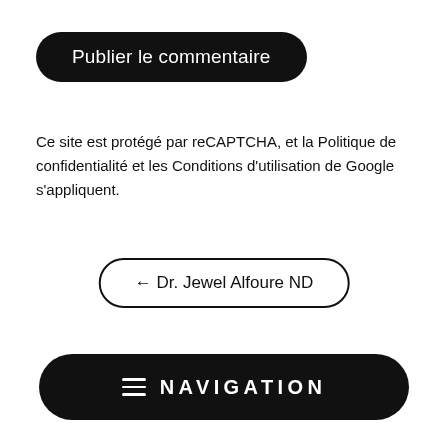Publier le commentaire
Ce site est protégé par reCAPTCHA, et la Politique de confidentialité et les Conditions d'utilisation de Google s'appliquent.
← Dr. Jewel Alfoure ND
≡  NAVIGATION